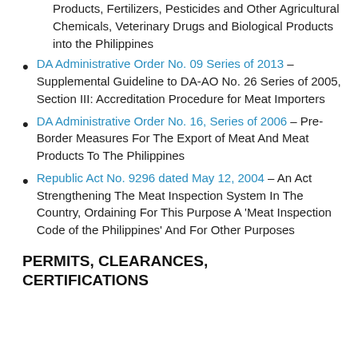Products, Fertilizers, Pesticides and Other Agricultural Chemicals, Veterinary Drugs and Biological Products into the Philippines
DA Administrative Order No. 09 Series of 2013 – Supplemental Guideline to DA-AO No. 26 Series of 2005, Section III: Accreditation Procedure for Meat Importers
DA Administrative Order No. 16, Series of 2006 – Pre-Border Measures For The Export of Meat And Meat Products To The Philippines
Republic Act No. 9296 dated May 12, 2004 – An Act Strengthening The Meat Inspection System In The Country, Ordaining For This Purpose A 'Meat Inspection Code of the Philippines' And For Other Purposes
PERMITS, CLEARANCES, CERTIFICATIONS